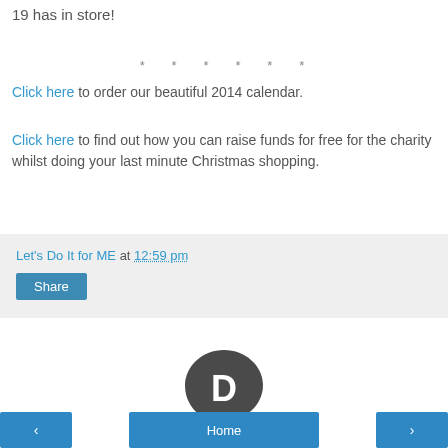19 has in store!
* * * * * *
Click here to order our beautiful 2014 calendar.
Click here to find out how you can raise funds for free for the charity whilst doing your last minute Christmas shopping.
Let's Do It for ME at 12:59 pm
Share
[Figure (logo): Disqus logo — dark grey speech bubble with letter D inside]
‹  Home  ›